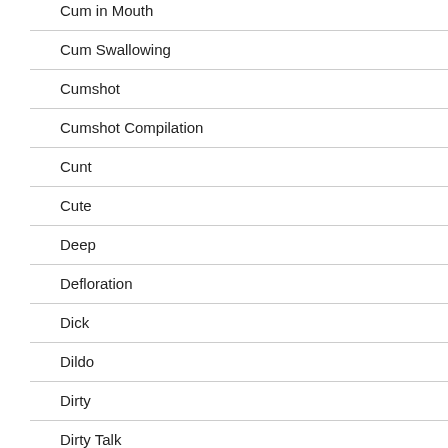Cum in Mouth
Cum Swallowing
Cumshot
Cumshot Compilation
Cunt
Cute
Deep
Defloration
Dick
Dildo
Dirty
Dirty Talk